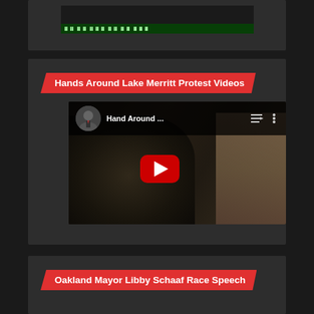[Figure (screenshot): Top card showing a partially visible video thumbnail from a previous section, dark background card]
Hands Around Lake Merritt Protest Videos
[Figure (screenshot): YouTube video embed thumbnail showing a man with a YouTube play button overlay. Video title reads 'Hand Around ...' with a channel avatar of a man in a suit. Background shows a building exterior.]
Oakland Mayor Libby Schaaf Race Speech